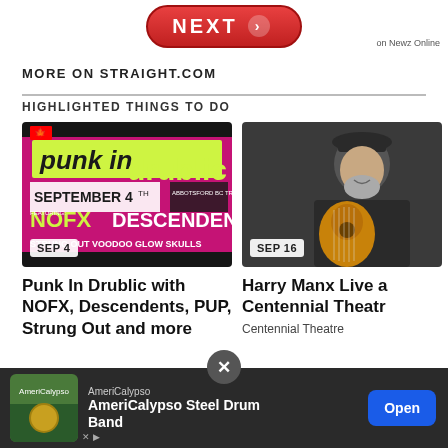[Figure (other): Red NEXT button with arrow, 'on Newz Online' text beside it]
MORE ON STRAIGHT.COM
HIGHLIGHTED THINGS TO DO
[Figure (photo): Punk In Drublic festival poster featuring NOFX, Descendents, PUP, Strung Out, Voodoo Glow Skulls — September 4th, Abbotsford BC Tradex. Pink/black/green graphic.]
SEP 4
Punk In Drublic with NOFX, Descendents, PUP, Strung Out and more
[Figure (photo): Man with beard wearing dark hat, smiling while holding a guitar — Harry Manx promotional photo]
SEP 16
Harry Manx Live at Centennial Theatre
Centennial Theatre
[Figure (other): AmeriCalypso advertisement banner. Thumbnail image, AmeriCalypso brand name, 'AmeriCalypso Steel Drum Band' title, Open button.]